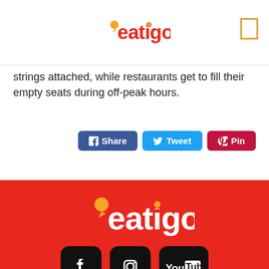[Figure (logo): Eatigo logo in header with orange speech bubble dot over the 'e']
strings attached, while restaurants get to fill their empty seats during off-peak hours.
[Figure (infographic): Social share buttons: Facebook Share, Twitter Tweet, Pinterest Pin]
[Figure (logo): Eatigo logo in white on red background in footer]
[Figure (infographic): Social media icons: Facebook, Instagram, YouTube on black rounded squares]
Copyright 2015-2019, all rights reserved.